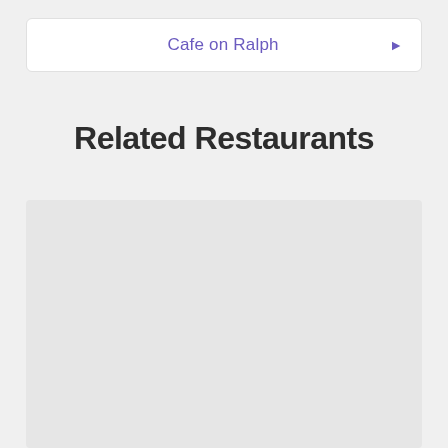Cafe on Ralph ▶
Related Restaurants
[Figure (other): Large light grey placeholder image block below the Related Restaurants section header]